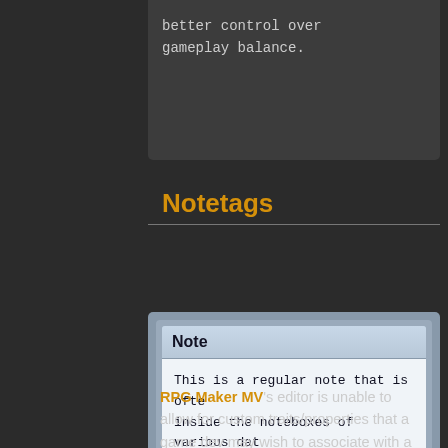better control over gameplay balance.
Notetags
[Figure (screenshot): A note widget/dialog box from RPG Maker MV editor showing a 'Note' label header and monospace text content: 'This is a regular note that is ofte inside the noteboxes of various dat objects.' followed by '<This is a Notetag>']
RPG Maker MV's editor is unable to allow for custom traits/properties that a game dev may wish to associate with a